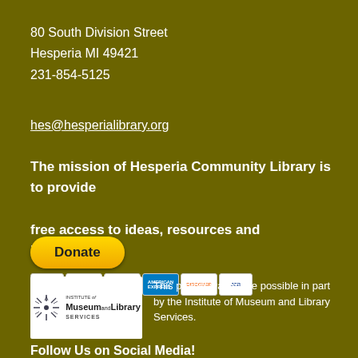80 South Division Street
Hesperia MI 49421
231-854-5125
hes@hesperialibrary.org
The mission of Hesperia Community Library is to provide free access to ideas, resources and information.
[Figure (other): PayPal Donate button with payment card icons (Visa, Mastercard, Maestro, American Express, Discover, JCB)]
[Figure (logo): Institute of Museum and Library Services (IMLS) logo with starburst graphic]
This project was made possible in part by the Institute of Museum and Library Services.
Follow Us on Social Media!